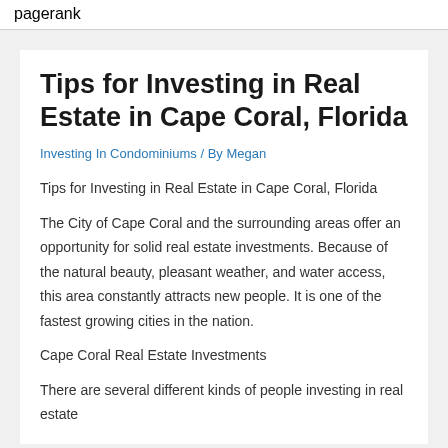pagerank
Tips for Investing in Real Estate in Cape Coral, Florida
Investing In Condominiums / By Megan
Tips for Investing in Real Estate in Cape Coral, Florida
The City of Cape Coral and the surrounding areas offer an opportunity for solid real estate investments. Because of the natural beauty, pleasant weather, and water access, this area constantly attracts new people. It is one of the fastest growing cities in the nation.
Cape Coral Real Estate Investments
There are several different kinds of people investing in real estate